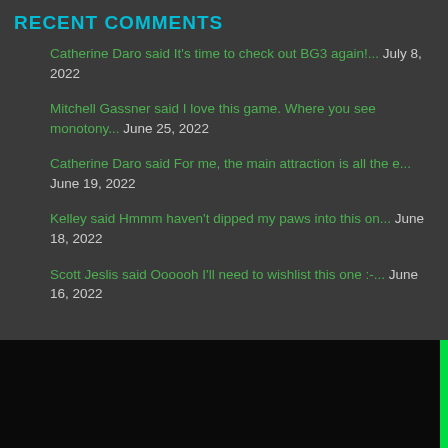RECENT COMMENTS
Catherine Daro said It's time to check out BG3 again!… July 8, 2022
Mitchell Gassner said I love this game. Where you see monotony… June 25, 2022
Catherine Daro said For me, the main attraction is all the e… June 19, 2022
Kelley said Hmmm haven't dipped my paws into this on… June 18, 2022
Scott Jeslis said Oooooh I'll need to wishlist this one :-… June 16, 2022